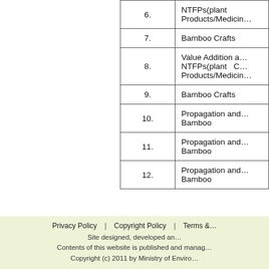| No. | Topic |
| --- | --- |
| 6. | NTFPs(plant … Products/Medicin… |
| 7. | Bamboo Crafts |
| 8. | Value Addition a… NTFPs(plant C… Products/Medicin… |
| 9. | Bamboo Crafts |
| 10. | Propagation and… Bamboo |
| 11. | Propagation and… Bamboo |
| 12. | Propagation and… Bamboo |
Feedback
Privacy Policy | Copyright Policy | Terms & … Site designed, developed ar… Contents of this website is published and manag… Copyright (c) 2011 by Ministry of Enviro…